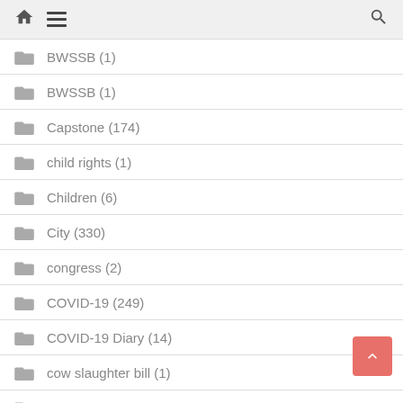home menu search
BWSSB (1)
BWSSB (1)
Capstone (174)
child rights (1)
Children (6)
City (330)
congress (2)
COVID-19 (249)
COVID-19 Diary (14)
cow slaughter bill (1)
Crime (14)
Cuttack (1)